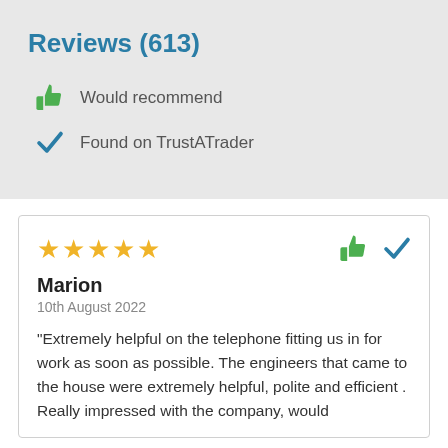Reviews (613)
Would recommend
Found on TrustATrader
[Figure (other): Review card with 5 gold stars, thumbs up and check icons, reviewer name Marion, date 10th August 2022, and review text]
"Extremely helpful on the telephone fitting us in for work as soon as possible. The engineers that came to the house were extremely helpful, polite and efficient . Really impressed with the company, would